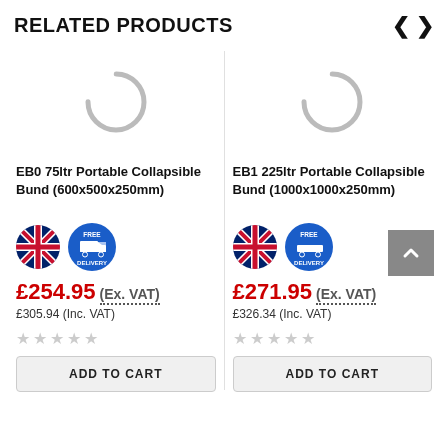RELATED PRODUCTS
[Figure (screenshot): Loading spinner placeholder for product image 1]
EB0 75ltr Portable Collapsible Bund (600x500x250mm)
[Figure (illustration): UK flag circle badge and Free Delivery circle badge for product 1]
£254.95 (Ex. VAT)
£305.94 (Inc. VAT)
★ ★ ★ ★ ★
ADD TO CART
[Figure (screenshot): Loading spinner placeholder for product image 2]
EB1 225ltr Portable Collapsible Bund (1000x1000x250mm)
[Figure (illustration): UK flag circle badge and Free Delivery circle badge for product 2]
£271.95 (Ex. VAT)
£326.34 (Inc. VAT)
★ ★ ★ ★ ★
ADD TO CART